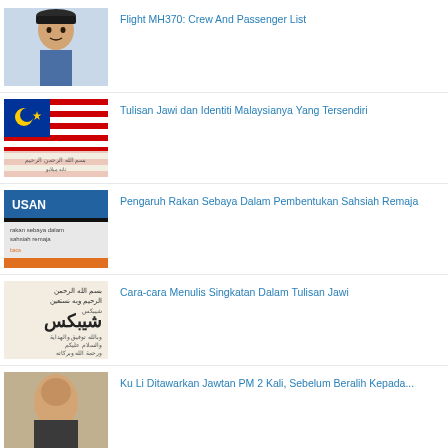Flight MH370: Crew And Passenger List
Tulisan Jawi dan Identiti Malaysianya Yang Tersendiri
Pengaruh Rakan Sebaya Dalam Pembentukan Sahsiah Remaja
Cara-cara Menulis Singkatan Dalam Tulisan Jawi
Ku Li Ditawarkan Jawtan PM 2 Kali, Sebelum Beralih Kepada...